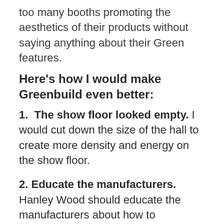too many booths promoting the aesthetics of their products without saying anything about their Green features.
Here's how I would make Greenbuild even better:
1.  The show floor looked empty. I would cut down the size of the hall to create more density and energy on the show floor.
2. Educate the manufacturers. Hanley Wood should educate the manufacturers about how to successfully exhibit at Greenbuild as